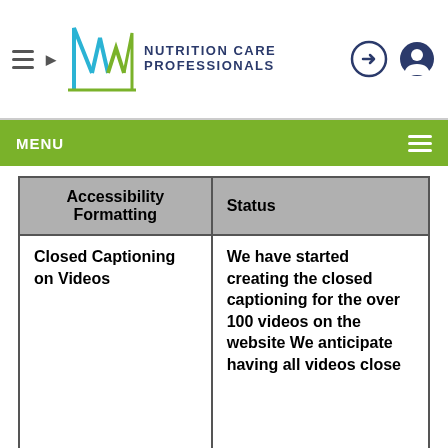Nutrition Care Professionals
| Accessibility Formatting | Status |
| --- | --- |
| Closed Captioning on Videos | We have started creating the closed captioning for the over 100 videos on the website We anticipate having all videos close... |